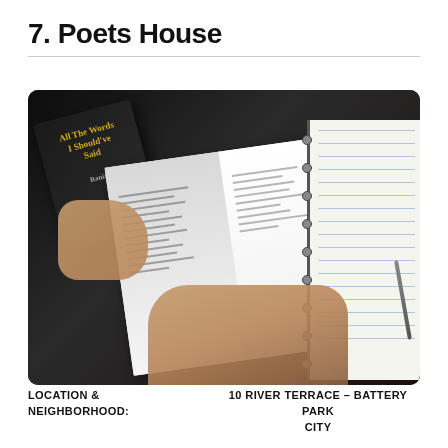7. Poets House
[Figure (photo): Person reading an open book (poetry) at a table with a spiral notebook and pen nearby]
LOCATION & NEIGHBORHOOD:	10 RIVER TERRACE – BATTERY PARK CITY